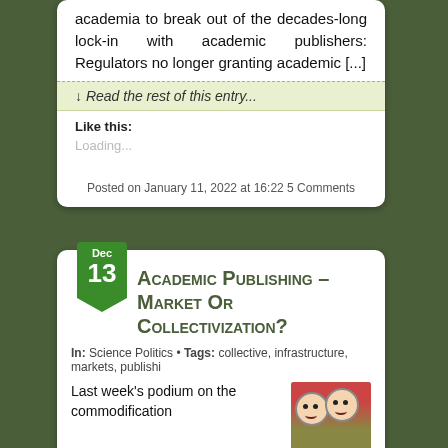academia to break out of the decades-long lock-in with academic publishers: Regulators no longer granting academic [...]
↓ Read the rest of this entry...
Like this:
Loading...
Posted on January 11, 2022 at 16:22 5 Comments
Academic Publishing – Market Or Collectivization?
In: Science Politics • Tags: collective, infrastructure, markets, publishi
Last week's podium on the commodification